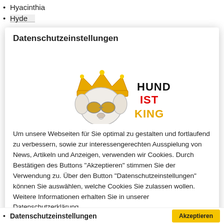Hyacinthia
Hyde
Datenschutzeinstellungen
[Figure (logo): Dog with sunglasses and crown logo with text HUND IST KING]
Um unsere Webseiten für Sie optimal zu gestalten und fortlaufend zu verbessern, sowie zur interessengerechten Ausspielung von News, Artikeln und Anzeigen, verwenden wir Cookies. Durch Bestätigen des Buttons "Akzeptieren" stimmen Sie der Verwendung zu. Über den Button "Datenschutzeinstellungen" können Sie auswählen, welche Cookies Sie zulassen wollen. Weitere Informationen erhalten Sie in unserer Datenschutzerklärung.
Datenschutzeinstellungen